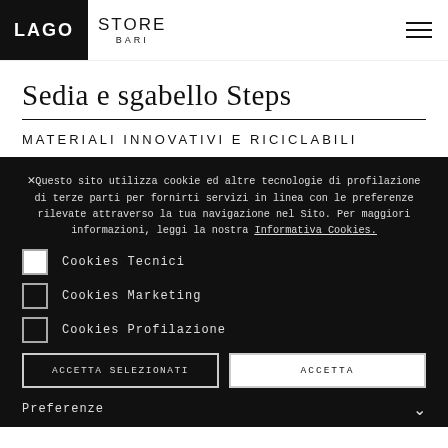LAGO STORE BARI
Sedia e sgabello Steps
MATERIALI INNOVATIVI E RICICLABILI
Questo sito utilizza cookie ed altre tecnologie di profilazione di terze parti per fornirti servizi in linea con le preferenze rilevate attraverso la tua navigazione nel Sito. Per maggiori informazioni, leggi la nostra Informativa Cookies.
Cookies Tecnici
Cookies Marketing
Cookies Profilazione
ACCETTA SELEZIONATI | ACCETTA
Preferenze